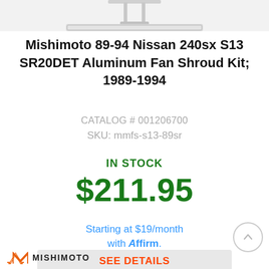[Figure (photo): Partial top view of Mishimoto aluminum fan shroud product image on white/light gray background]
Mishimoto 89-94 Nissan 240sx S13 SR20DET Aluminum Fan Shroud Kit; 1989-1994
CATALOG # 001206700
SKU: mmfs-s13-89sr
IN STOCK
$211.95
Starting at $19/month with Affirm.
SEE DETAILS
[Figure (logo): Mishimoto brand logo with stylized M icon and MISHIMOTO text]